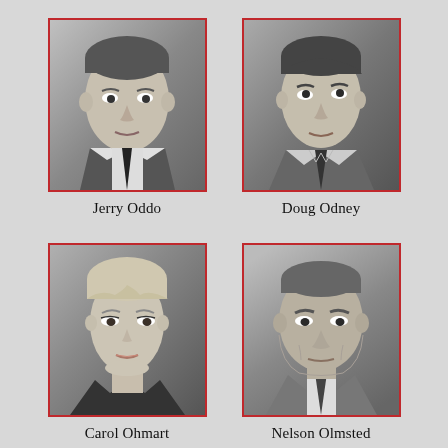[Figure (photo): Black and white headshot of Jerry Oddo, a man in a suit with a tie, looking forward]
Jerry Oddo
[Figure (photo): Black and white headshot of Doug Odney, a man in a jacket and tie, looking slightly upward]
Doug Odney
[Figure (photo): Black and white headshot of Carol Ohmart, a woman with styled blonde hair, wearing a dark top]
Carol Ohmart
[Figure (photo): Black and white headshot of Nelson Olmsted, a middle-aged man in a suit and tie, serious expression]
Nelson Olmsted